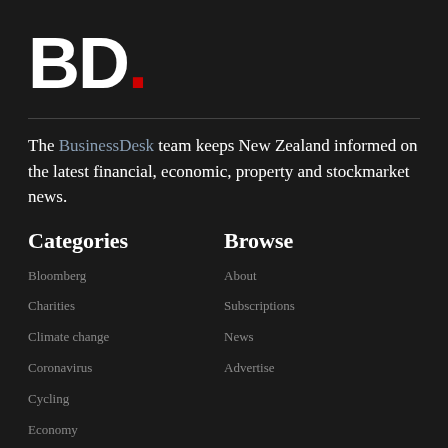[Figure (logo): BD. logo in white bold text with red period]
The BusinessDesk team keeps New Zealand informed on the latest financial, economic, property and stockmarket news.
Categories
Browse
Bloomberg
About
Charities
Subscriptions
Climate change
News
Coronavirus
Advertise
Cycling
Economy
Editors Picks